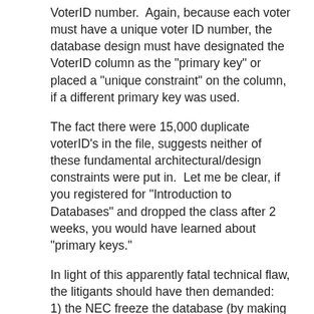VoterID number.  Again, because each voter must have a unique voter ID number, the database design must have designated the VoterID column as the "primary key" or placed a "unique constraint" on the column, if a different primary key was used.
The fact there were 15,000 duplicate voterID's in the file, suggests neither of these fundamental architectural/design constraints were put in.  Let me be clear, if you registered for "Introduction to Databases" and dropped the class after 2 weeks, you would have learned about "primary keys."
In light of this apparently fatal technical flaw, the litigants should have then demanded:
1) the NEC freeze the database (by making a certified copy and removing that copy from the premises.)
2) a copy of the database be given to the litigants for inspection.
This would have allowed the litigants to actually query the database and note all of its design/data flaws.
Also important is whether or not the NEC built an "Audit Trail" into the database.  For high-security databases, it is necessary to record and track all changes made to the data, capture who made the change, and the date and time it was